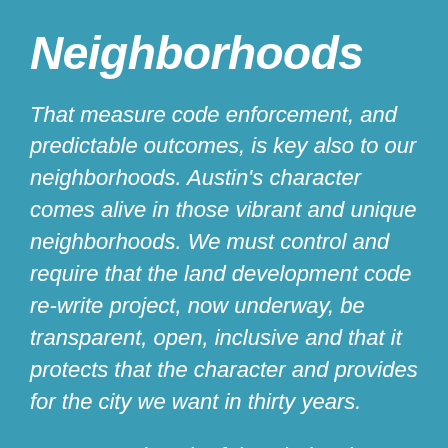Neighborhoods
That measure code enforcement, and predictable outcomes, is key also to our neighborhoods. Austin's character comes alive in those vibrant and unique neighborhoods. We must control and require that the land development code re-write project, now underway, be transparent, open, inclusive and that it protects that the character and provides for the city we want in thirty years.
We must reject the false choice that such protection cannot co-exist with